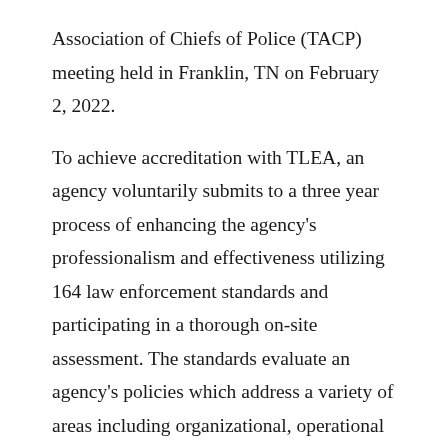Association of Chiefs of Police (TACP) meeting held in Franklin, TN on February 2, 2022.
To achieve accreditation with TLEA, an agency voluntarily submits to a three year process of enhancing the agency's professionalism and effectiveness utilizing 164 law enforcement standards and participating in a thorough on-site assessment. The standards evaluate an agency's policies which address a variety of areas including organizational, operational and budget management practices.  The program is intended to encourage cooperation, recognize professional standing, develop professional services and ensure public safety throughout the State of Tennessee. The TLEA program is a valuable and cost effective way to enhance overall agency effectiveness and professionalism.